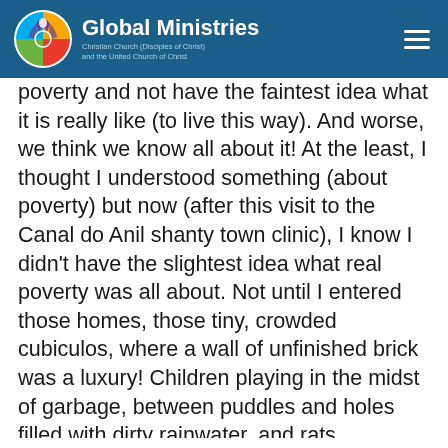Global Ministries — Christian Church (Disciples of Christ) and the United Church of Christ
poverty and not have the faintest idea what it is really like (to live this way). And worse, we think we know all about it! At the least, I thought I understood something (about poverty) but now (after this visit to the Canal do Anil shanty town clinic), I know I didn't have the slightest idea what real poverty was all about. Not until I entered those homes, those tiny, crowded cubiculos, where a wall of unfinished brick was a luxury! Children playing in the midst of garbage, between puddles and holes filled with dirty rainwater, and rats.